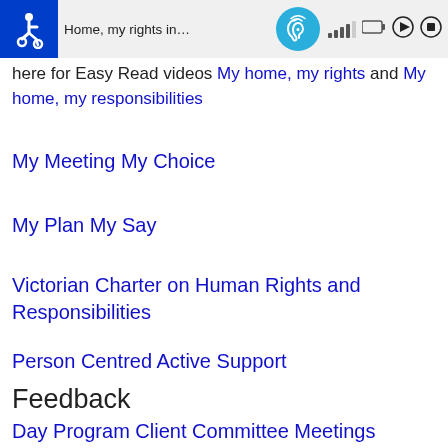Home, my rights in... here for Easy Read videos My home, my rights and My home, my responsibilities
My Meeting My Choice
My Plan My Say
Victorian Charter on Human Rights and Responsibilities
Person Centred Active Support
Feedback
Day Program Client Committee Meetings